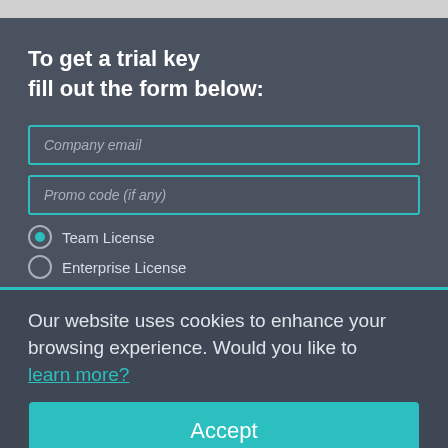To get a trial key fill out the form below:
Company email
Promo code (if any)
Team License
Enterprise License
Our website uses cookies to enhance your browsing experience. Would you like to learn more?
Accept